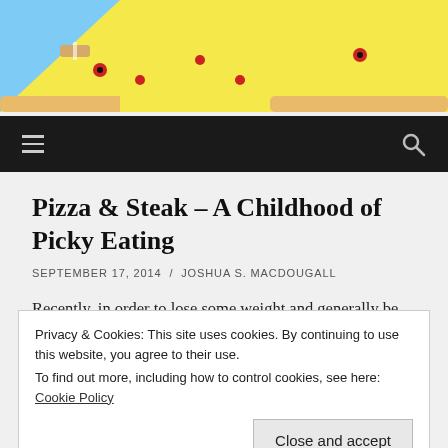[Figure (illustration): Cartoon pizza slice characters on a yellow and blue background, serving as a blog header image]
☰  🔍
Pizza & Steak – A Childhood of Picky Eating
SEPTEMBER 17, 2014 / JOSHUA S. MACDOUGALL
Recently, in order to lose some weight and generally be
Privacy & Cookies: This site uses cookies. By continuing to use this website, you agree to their use.
To find out more, including how to control cookies, see here: Cookie Policy
Close and accept
birth to twenty I refused to try new food. Each decade